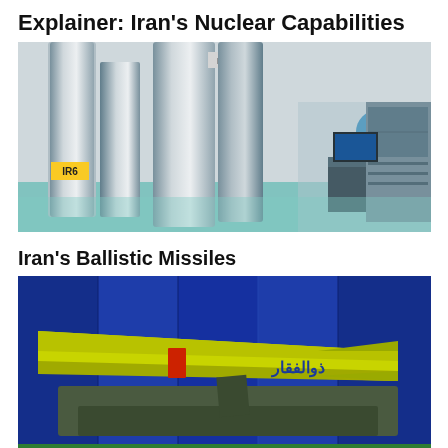Explainer: Iran's Nuclear Capabilities
[Figure (photo): Interior of nuclear facility showing large silver centrifuge cylinders labeled IR6 and IR2m, with technicians in blue protective suits working at workstations in the background.]
Iran's Ballistic Missiles
[Figure (photo): Yellow-green ballistic missile labeled Zolfaghar (ذوالفقار) on a military launcher against a blue metal panel background, with a green banner containing Persian text at the bottom.]
The Book